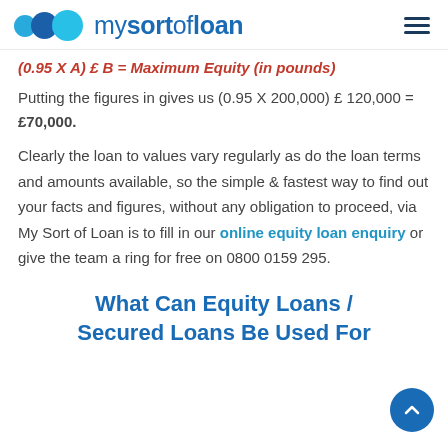[Figure (logo): mysortofloan logo with three overlapping blue circles and brand name text]
(0.95 X A) £ B = Maximum Equity (in pounds)
Putting the figures in gives us (0.95 X 200,000) £ 120,000 = £70,000.
Clearly the loan to values vary regularly as do the loan terms and amounts available, so the simple & fastest way to find out your facts and figures, without any obligation to proceed, via My Sort of Loan is to fill in our online equity loan enquiry or give the team a ring for free on 0800 0159 295.
What Can Equity Loans / Secured Loans Be Used For